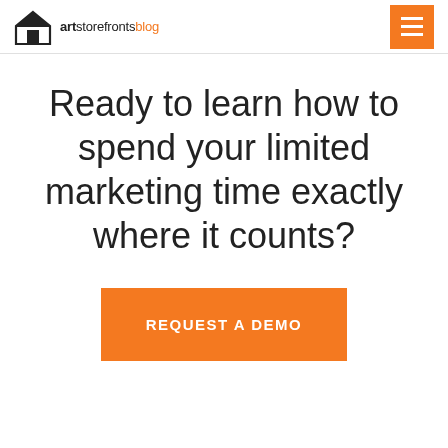artstorefronts blog
Ready to learn how to spend your limited marketing time exactly where it counts?
REQUEST A DEMO